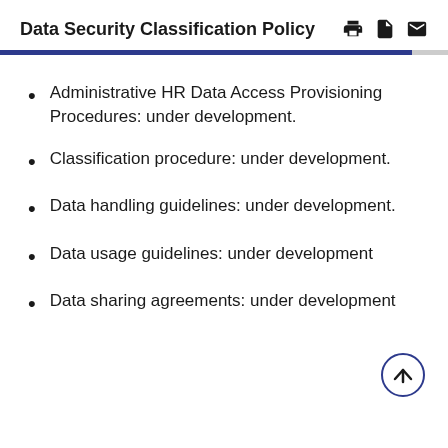Data Security Classification Policy
Administrative HR Data Access Provisioning Procedures: under development.
Classification procedure: under development.
Data handling guidelines: under development.
Data usage guidelines: under development
Data sharing agreements: under development